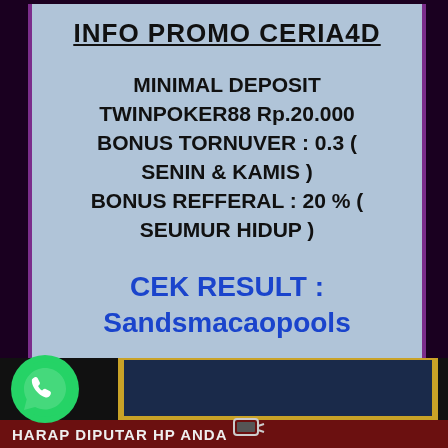INFO PROMO CERIA4D
MINIMAL DEPOSIT TWINPOKER88 Rp.20.000 BONUS TORNUVER : 0.3 ( SENIN & KAMIS ) BONUS REFFERAL : 20 % ( SEUMUR HIDUP )
CEK RESULT : Sandsmacaopools
[Figure (illustration): WhatsApp green circle logo on bottom left]
[Figure (illustration): Gold-framed dark image strip at bottom, dark red bar with text HARAP DIPUTAR HP ANDA and phone icon]
HARAP DIPUTAR HP ANDA